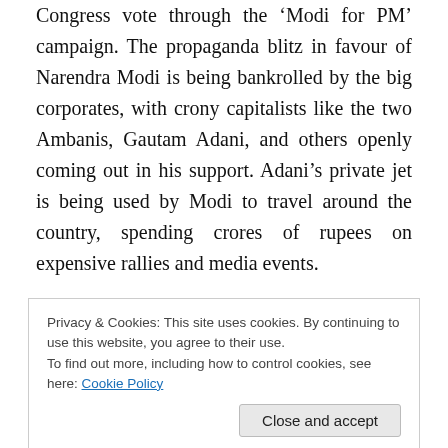Congress vote through the 'Modi for PM' campaign. The propaganda blitz in favour of Narendra Modi is being bankrolled by the big corporates, with crony capitalists like the two Ambanis, Gautam Adani, and others openly coming out in his support. Adani's private jet is being used by Modi to travel around the country, spending crores of rupees on expensive rallies and media events.
Corporate India was worried with the growing public anger against massive corruption scandals involving big businesses and ruling politicians spilling over into a
Privacy & Cookies: This site uses cookies. By continuing to use this website, you agree to their use.
To find out more, including how to control cookies, see here: Cookie Policy
opted for Narendra Modi as the Prime Minister.